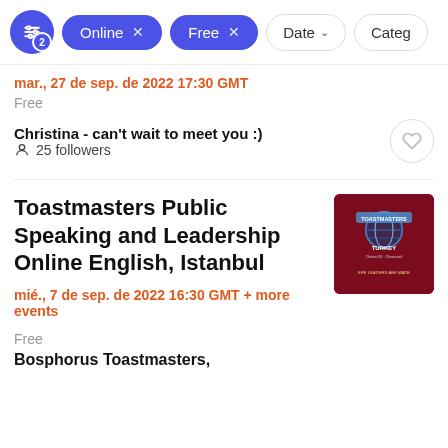Online x | Free x | Date v | Categ...
mar., 27 de sep. de 2022 17:30 GMT
Free
Christina - can't wait to meet you :)
25 followers
Toastmasters Public Speaking and Leadership Online English, Istanbul
mié., 7 de sep. de 2022 16:30 GMT + more events
Free
[Figure (photo): Toastmasters International Turkey logo with dark red background, globe graphic, text: TOASTMASTERS INTERNATIONAL TURKEY District19-Division4, WHERE LEADERS ARE MADE]
Bosphorus Toastmasters,